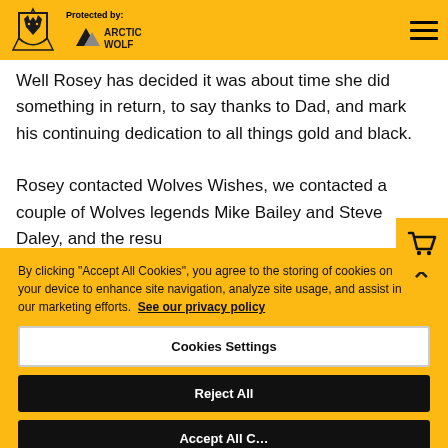Protected by: ARCTIC WOLF
Well Rosey has decided it was about time she did something in return, to say thanks to Dad, and mark his continuing dedication to all things gold and black.
Rosey contacted Wolves Wishes, we contacted a couple of Wolves legends Mike Bailey and Steve Daley, and the resu…
By clicking "Accept All Cookies", you agree to the storing of cookies on your device to enhance site navigation, analyze site usage, and assist in our marketing efforts. See our privacy policy
Cookies Settings
Reject All
Accept All Cookies